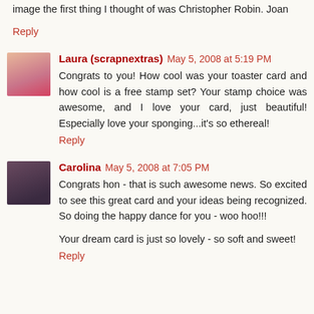image the first thing I thought of was Christopher Robin. Joan
Reply
Laura (scrapnextras) May 5, 2008 at 5:19 PM
Congrats to you! How cool was your toaster card and how cool is a free stamp set? Your stamp choice was awesome, and I love your card, just beautiful! Especially love your sponging...it's so ethereal!
Reply
Carolina May 5, 2008 at 7:05 PM
Congrats hon - that is such awesome news. So excited to see this great card and your ideas being recognized. So doing the happy dance for you - woo hoo!!!
Your dream card is just so lovely - so soft and sweet!
Reply